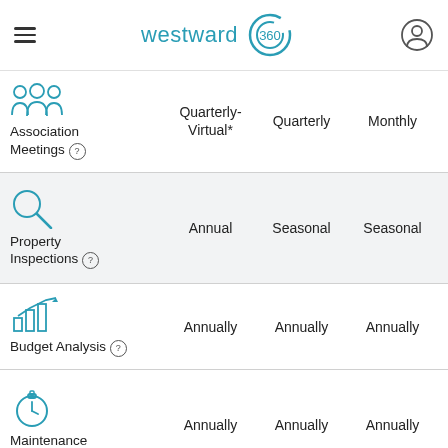[Figure (logo): Westward 360 logo with hamburger menu and user icon in header]
| Service | Quarterly-Virtual* | Quarterly | Monthly |
| --- | --- | --- | --- |
| Association Meetings | Quarterly-
Virtual* | Quarterly | Monthly |
| Property Inspections | Annual | Seasonal | Seasonal |
| Budget Analysis | Annually | Annually | Annually |
| Maintenance Calendar | Annually | Annually | Annually |